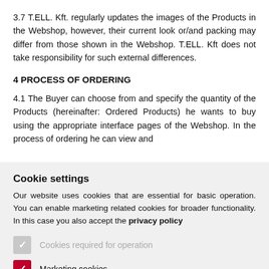3.7 T.ELL. Kft. regularly updates the images of the Products in the Webshop, however, their current look or/and packing may differ from those shown in the Webshop. T.ELL. Kft does not take responsibility for such external differences.
4 PROCESS OF ORDERING
4.1 The Buyer can choose from and specify the quantity of the Products (hereinafter: Ordered Products) he wants to buy using the appropriate interface pages of the Webshop. In the process of ordering he can view and
Cookie settings
Our website uses cookies that are essential for basic operation. You can enable marketing related cookies for broader functionality. In this case you also accept the privacy policy
Cookies required for operation
Marketing cookies